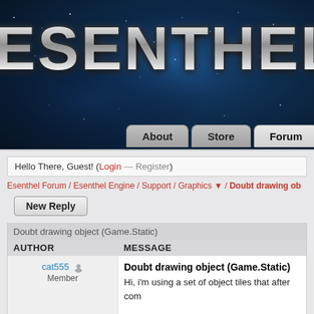[Figure (screenshot): Esenthel website header with space/nebula background and large silver metallic logo text 'ESENTHEL']
ESENTHEL
About  Store  Forum  Docu
Hello There, Guest! (Login — Register)
Esenthel Forum / Esenthel Engine / Support / Graphics ▼ / Doubt drawing ob
New Reply
| AUTHOR | MESSAGE |
| --- | --- |
| cat555  Member | Doubt drawing object (Game.Static)
Hi, i'm using a set of object tiles that after com...

I've created my own class for this, since i nee...

My problem is that when drawing (drawPrepa... positions... this occurs even if i don't check if e...

I'm using like this: |